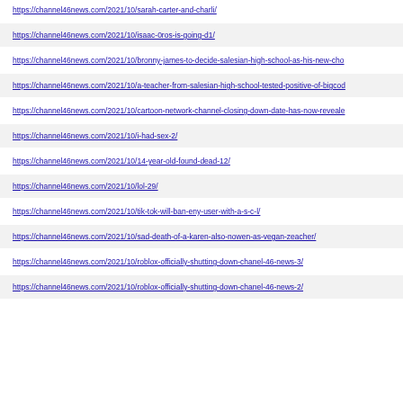https://channel46news.com/2021/10/sarah-carter-and-charli/
https://channel46news.com/2021/10/isaac-0ros-is-going-d1/
https://channel46news.com/2021/10/bronny-james-to-decide-salesian-high-school-as-his-new-cho
https://channel46news.com/2021/10/a-teacher-from-salesian-high-school-tested-positive-of-bigcod
https://channel46news.com/2021/10/cartoon-network-channel-closing-down-date-has-now-reveale
https://channel46news.com/2021/10/i-had-sex-2/
https://channel46news.com/2021/10/14-year-old-found-dead-12/
https://channel46news.com/2021/10/lol-29/
https://channel46news.com/2021/10/tik-tok-will-ban-eny-user-with-a-s-c-l/
https://channel46news.com/2021/10/sad-death-of-a-karen-also-nowen-as-vegan-zeacher/
https://channel46news.com/2021/10/roblox-officially-shutting-down-chanel-46-news-3/
https://channel46news.com/2021/10/roblox-officially-shutting-down-chanel-46-news-2/